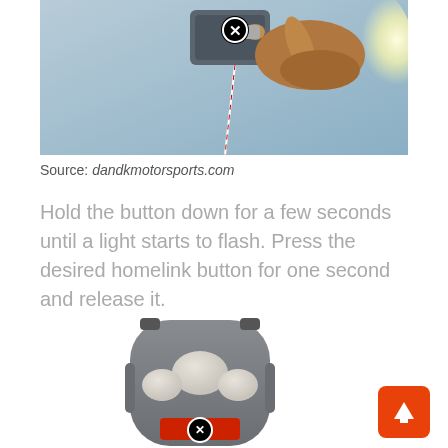[Figure (photo): Photo of a hand pressing a button on a garage door opener unit, with a white/red string hanging down. A circled X marker overlays the image.]
Source: dandkmotorsports.com
Hold the button down for a few seconds until a light starts to flash. Press the desired homelink button for one second and release it.
[Figure (photo): Photo of a Genie brand garage door remote control with three buttons (left, center, right). A circled X marker appears near the bottom logo area.]